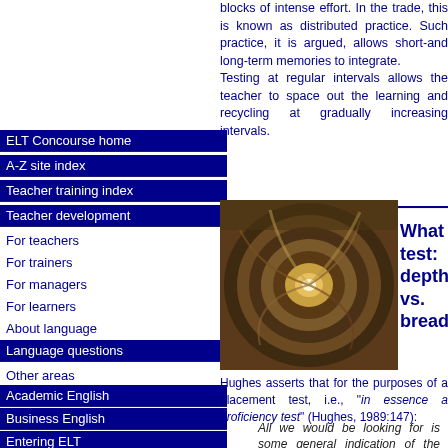blocks of intense effort. In the trade, this is known as distributed practice. Such practice, it is argued, allows short-and long-term memories to integrate.
Testing at regular intervals allows the teacher to space out the learning and recycling at gradually increasing intervals.
ELT Concourse home
A-Z site index
Teacher training index
Teacher development
For teachers
For trainers
For managers
For learners
About language
Language questions
Other areas
Academic English
Business English
Entering ELT
Courses index
Basic ELT course
TKT
The Bridge
Language analysis
Training to train
[Figure (photo): Aerial view looking down a spiral staircase with stone walls]
What test: depth vs. bread
Hughes asserts that for the purposes of a placement test, i.e., "in essence a proficiency test" (Hughes, 1989:147):
All we would be looking for is some general indication of the adequacy of the student's vocabulary.